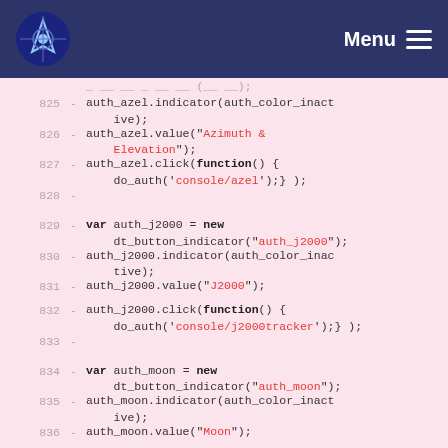Menu
825  - auth_azel.indicator(auth_color_inactive);
826  - auth_azel.value("Azimuth & Elevation");
827  - auth_azel.click(function() { do_auth('console/azel');} );
828  -
829  - var auth_j2000 = new dt_button_indicator("auth_j2000");
830  - auth_j2000.indicator(auth_color_inactive);
831  - auth_j2000.value("J2000");
832  - auth_j2000.click(function() { do_auth('console/j2000tracker');} );
833  -
834  - var auth_moon = new dt_button_indicator("auth_moon");
835  - auth_moon.indicator(auth_color_inactive);
836  - auth_moon.value("Moon");